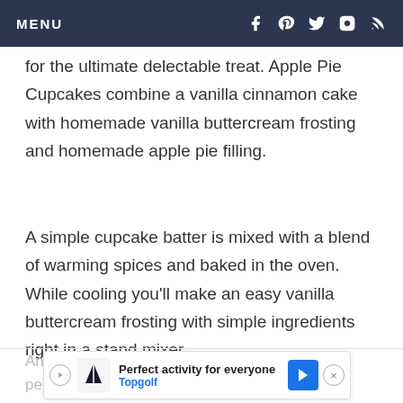MENU
for the ultimate delectable treat. Apple Pie Cupcakes combine a vanilla cinnamon cake with homemade vanilla buttercream frosting and homemade apple pie filling.
A simple cupcake batter is mixed with a blend of warming spices and baked in the oven. While cooling you’ll make an easy vanilla buttercream frosting with simple ingredients right in a stand mixer.
An ap… shly peeler…